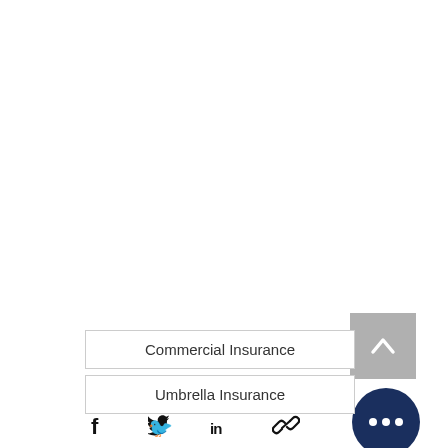Commercial Insurance
Umbrella Insurance
[Figure (other): Social media share icons: Facebook, Twitter, LinkedIn, and chain link/URL]
[Figure (other): Back to top button: grey square with upward chevron arrow]
[Figure (other): Dark navy blue circular button with three white dots (more options)]